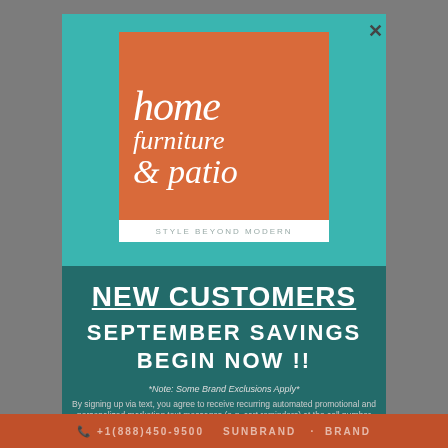[Figure (logo): Home Furniture & Patio logo — orange/terracotta square background with white italic text 'home furniture & patio', white bar below with tagline 'STYLE BEYOND MODERN' on teal background]
NEW CUSTOMERS
SEPTEMBER SAVINGS BEGIN NOW !!
*Note: Some Brand Exclusions Apply*
By signing up via text, you agree to receive recurring automated promotional and personalized marketing text messages (e.g. cart reminders) at the cell number used when signing up. Consent is not a condition of any purchase. Reply STOP to cancel. Msg frequency varies. Msg and data rates may apply. View TERMS
SUNBRAND ... BRAND